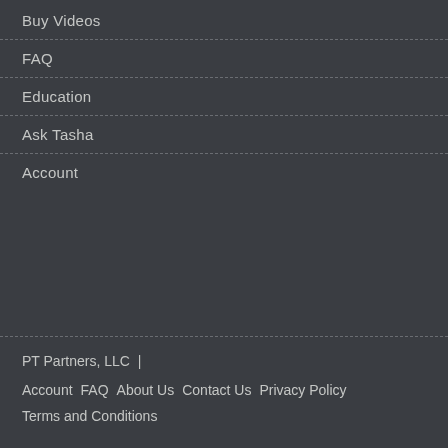Buy Videos
FAQ
Education
Ask Tasha
Account
PT Partners, LLC  |  Account  FAQ  About Us  Contact Us  Privacy Policy  Terms and Conditions